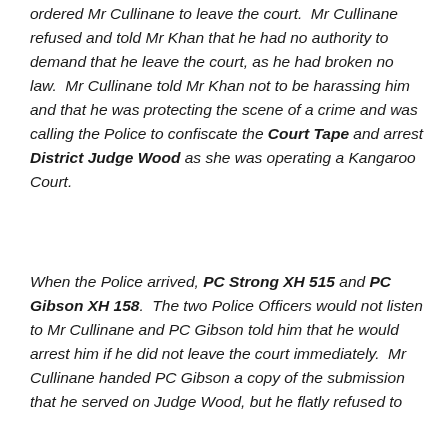ordered Mr Cullinane to leave the court.  Mr Cullinane refused and told Mr Khan that he had no authority to demand that he leave the court, as he had broken no law.  Mr Cullinane told Mr Khan not to be harassing him and that he was protecting the scene of a crime and was calling the Police to confiscate the Court Tape and arrest District Judge Wood as she was operating a Kangaroo Court.
When the Police arrived, PC Strong XH 515 and PC Gibson XH 158.  The two Police Officers would not listen to Mr Cullinane and PC Gibson told him that he would arrest him if he did not leave the court immediately.  Mr Cullinane handed PC Gibson a copy of the submission that he served on Judge Wood, but he flatly refused to